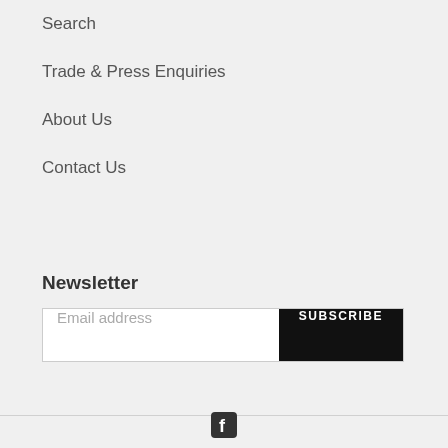Search
Trade & Press Enquiries
About Us
Contact Us
Newsletter
Email address
SUBSCRIBE
[Figure (logo): Facebook icon at bottom center of page]